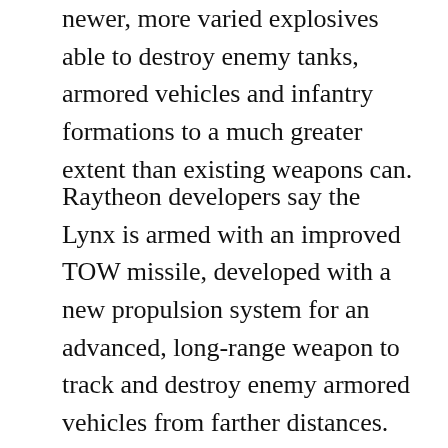newer, more varied explosives able to destroy enemy tanks, armored vehicles and infantry formations to a much greater extent than existing weapons can.
Raytheon developers say the Lynx is armed with an improved TOW missile, developed with a new propulsion system for an advanced, long-range weapon to track and destroy enemy armored vehicles from farther distances. The most recent TOW missiles, according to descriptions from the Federation of American Scientists, include hardened “guidance links with a thermal beacon which improves operations in dust, smoke and other obscurants.”